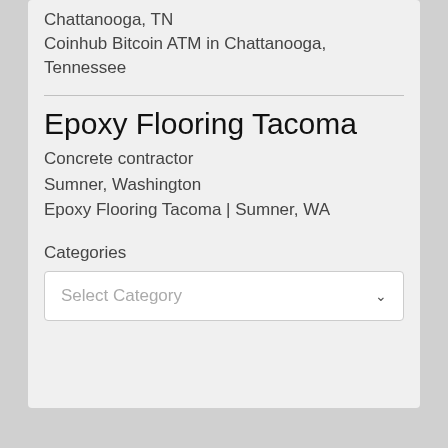Chattanooga, TN
Coinhub Bitcoin ATM in Chattanooga, Tennessee
Epoxy Flooring Tacoma
Concrete contractor
Sumner, Washington
Epoxy Flooring Tacoma | Sumner, WA
Categories
Select Category